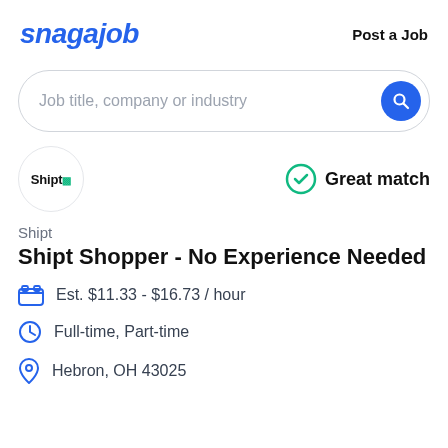snagajob   Post a Job
[Figure (screenshot): Search bar with placeholder text 'Job title, company or industry' and blue circular search button]
[Figure (logo): Shipt company logo in circular border]
Great match
Shipt
Shipt Shopper - No Experience Needed
Est. $11.33 - $16.73 / hour
Full-time, Part-time
Hebron, OH 43025